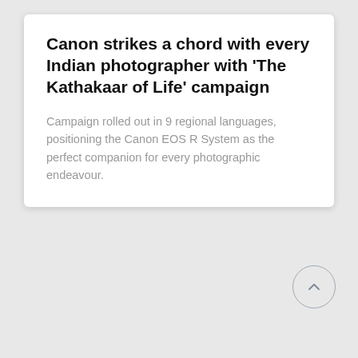Canon strikes a chord with every Indian photographer with 'The Kathakaar of Life' campaign
Campaign rolled out in 9 regional languages, positioning the Canon EOS R System as the perfect companion for every photographic endeavour.